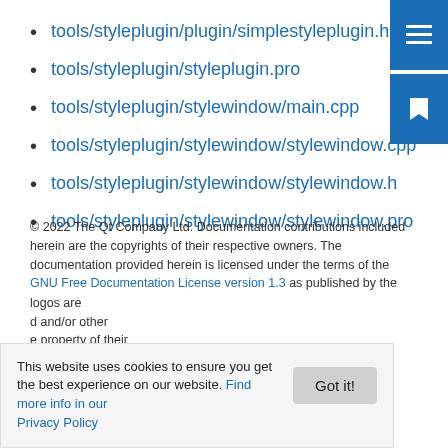tools/styleplugin/plugin/simplestyleplugin.h
tools/styleplugin/styleplugin.pro
tools/styleplugin/stylewindow/main.cpp
tools/styleplugin/stylewindow/stylewindow.cpp
tools/styleplugin/stylewindow/stylewindow.h
tools/styleplugin/stylewindow/stylewindow.pro
© 2022 The Qt Company Ltd. Documentation contributions included herein are the copyrights of their respective owners. The documentation provided herein is licensed under the terms of the GNU Free Documentation License version 1.3 as published by the ... logos are ... and/or other ... e property of their
This website uses cookies to ensure you get the best experience on our website. Find more info in our Privacy Policy